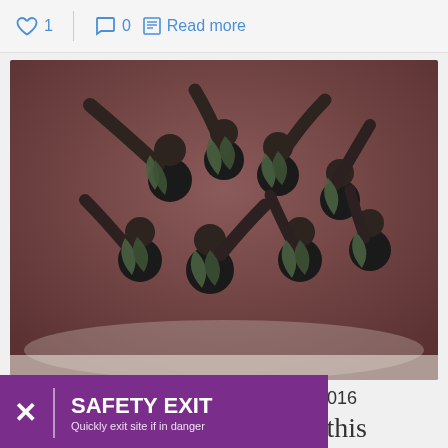♡ 1   | 💬 0  📄 Read more
[Figure (photo): Group of dancers in black costumes with green leaf decorations, posed dramatically looking upward on a stage with a brown backdrop.]
May 14, 2016
earlier this
Take a look back at ASHA's events hold the beginning
[Figure (infographic): Safety Exit button: purple banner with X icon and text 'SAFETY EXIT — Quickly exit site if in danger']